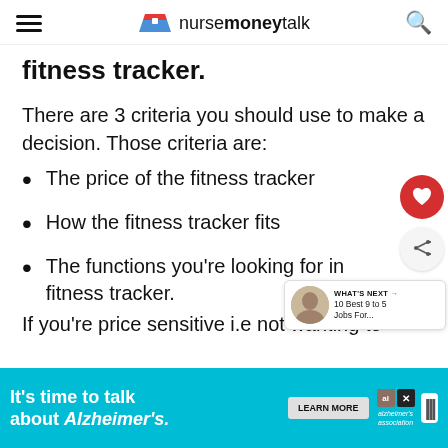nursemoneytalk
fitness tracker.
There are 3 criteria you should use to make a decision. Those criteria are:
The price of the fitness tracker
How the fitness tracker fits
The functions you're looking for in a fitness tracker.
If you're price sensitive i.e not wanting to s…